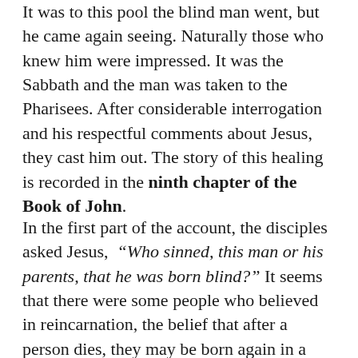It was to this pool the blind man went, but he came again seeing. Naturally those who knew him were impressed. It was the Sabbath and the man was taken to the Pharisees. After considerable interrogation and his respectful comments about Jesus, they cast him out. The story of this healing is recorded in the ninth chapter of the Book of John.
In the first part of the account, the disciples asked Jesus, “Who sinned, this man or his parents, that he was born blind?” It seems that there were some people who believed in reincarnation, the belief that after a person dies, they may be born again in a different body and the previous life could determine what kind of body they received. Jesus did not use the